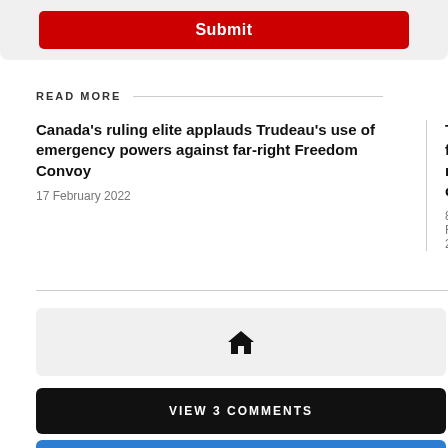Submit
READ MORE
Canada’s ruling elite applauds Trudeau’s use of emergency powers against far-right Freedom Convoy
17 February 2022
The far-rig conspiracy
8 February 2…
[Figure (illustration): Home icon (house symbol)]
VIEW 3 COMMENTS
CONTACT US